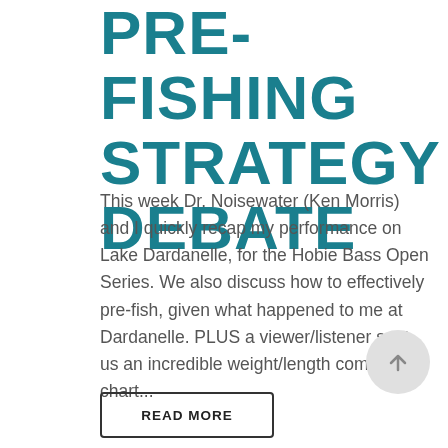PRE-FISHING STRATEGY DEBATE
This week Dr. Noisewater (Ken Morris) and I quickly recap my performance on Lake Dardanelle, for the Hobie Bass Open Series. We also discuss how to effectively pre-fish, given what happened to me at Dardanelle. PLUS a viewer/listener sent us an incredible weight/length comparison chart...
READ MORE